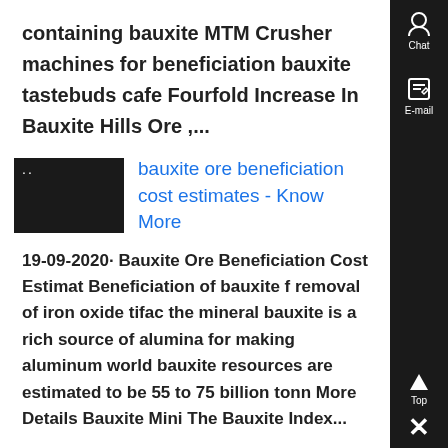containing bauxite MTM Crusher machines for beneficiation bauxite tastebuds cafe Fourfold Increase In Bauxite Hills Ore ,...
[Figure (photo): Small dark thumbnail image with two dots visible, related to bauxite ore beneficiation search result]
bauxite ore beneficiation cost estimates - Know More
19-09-2020· Bauxite Ore Beneficiation Cost Estimat Beneficiation of bauxite f removal of iron oxide tifac the mineral bauxite is a rich source of alumina for making aluminum world bauxite resources are estimated to be 55 to 75 billion tonn More Details Bauxite Mini The Bauxite Index...